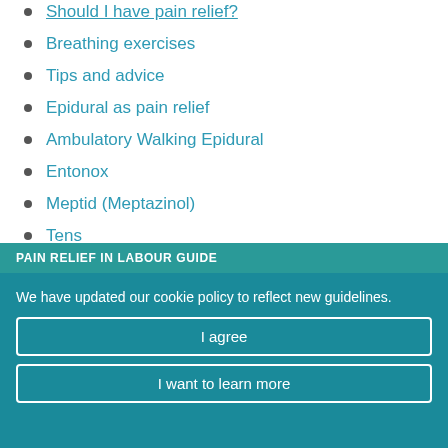Should I have pain relief?
Breathing exercises
Tips and advice
Epidural as pain relief
Ambulatory Walking Epidural
Entonox
Meptid (Meptazinol)
Tens
Pethidine
Spinal Pain Relief
PAIN RELIEF IN LABOUR GUIDE
We have updated our cookie policy to reflect new guidelines.
I agree
I want to learn more